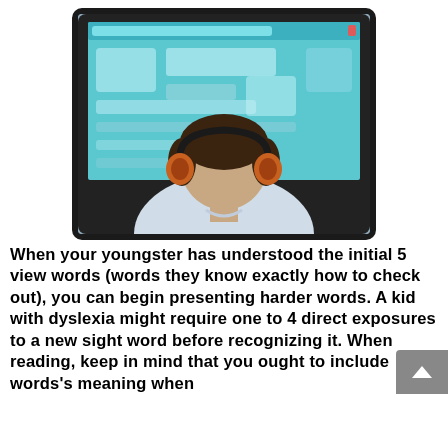[Figure (photo): A child seen from behind wearing headphones, sitting in front of a large monitor/tablet displaying a colorful educational game with a blue background.]
When your youngster has understood the initial 5 view words (words they know exactly how to check out), you can begin presenting harder words. A kid with dyslexia might require one to 4 direct exposures to a new sight word before recognizing it. When reading, keep in mind that you ought to include words's meaning when